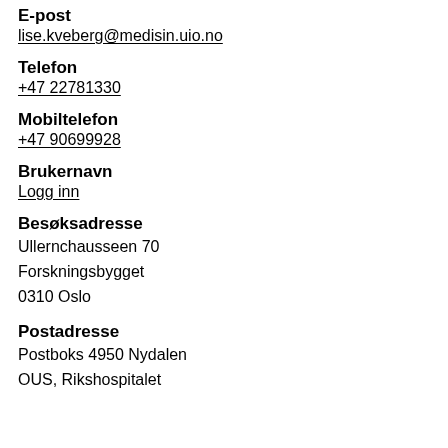E-post
lise.kveberg@medisin.uio.no
Telefon
+47 22781330
Mobiltelefon
+47 90699928
Brukernavn
Logg inn
Besøksadresse
Ullernchausseen 70
Forskningsbygget
0310 Oslo
Postadresse
Postboks 4950 Nydalen
OUS, Rikshospitalet